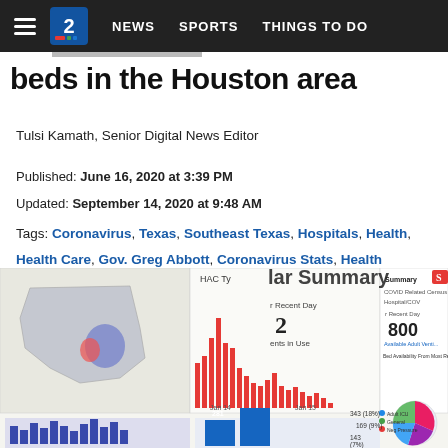NEWS   SPORTS   THINGS TO DO
beds in the Houston area
Tulsi Kamath, Senior Digital News Editor
Published: June 16, 2020 at 3:39 PM
Updated: September 14, 2020 at 9:48 AM
Tags: Coronavirus, Texas, Southeast Texas, Hospitals, Health, Health Care, Gov. Greg Abbott, Coronavirus Stats, Health Coronavirus
[Figure (screenshot): Screenshot of a COVID-19 hospital bed tracking dashboard showing a map of Texas, bar charts of COVID data, a summary panel with '800 Available Adult Ventilators', bed availability legend, and a pie chart showing hospital capacity statistics for the Houston area. Labels include 'Bed Availability From Most Recent Day', 'Adult ICU', 'General', 'Neg Pressure', dates 'Jan 14', 'Jan 15', values '343 (18%)', '169 (9%)', '143 (7%)'.]